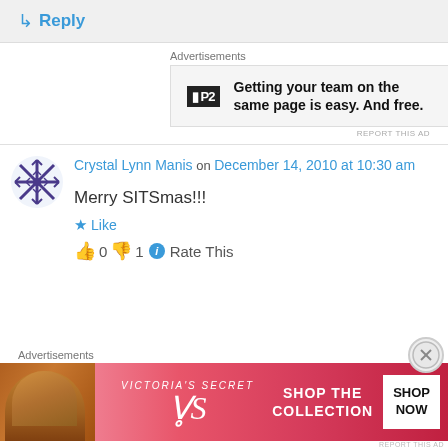↳ Reply
Advertisements
[Figure (screenshot): P2 advertisement: Getting your team on the same page is easy. And free.]
REPORT THIS AD
Crystal Lynn Manis on December 14, 2010 at 10:30 am
Merry SITSmas!!!
Like
👍 0 👎 1 ℹ Rate This
Advertisements
[Figure (screenshot): Victoria's Secret advertisement: Shop the Collection. Shop Now.]